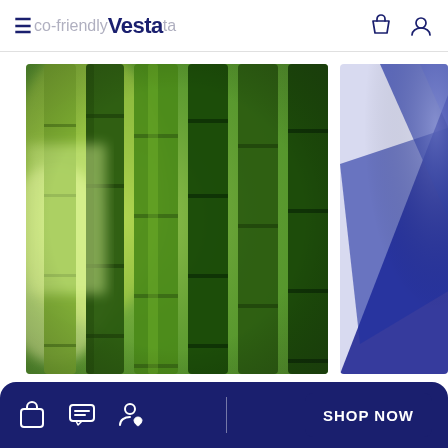≡ eco-friendly Vesta ta
[Figure (photo): Close-up photo of green bamboo stalks with blurred background, showing vertical bamboo culms in various shades of green]
[Figure (photo): Partially visible photo with blue/navy geometric shapes or packaging on a light background, cropped at the right edge]
Ma... ...ble p
We ... is to m
materials, such as bamboo fiber, using reusable
[Figure (screenshot): Dark navy bottom navigation bar with bag icon, chat icon, person/heart icon, a divider, and SHOP NOW button]